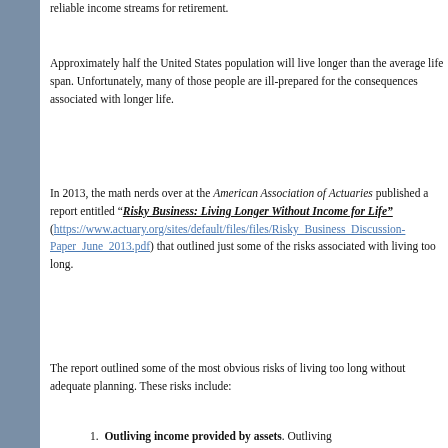reliable income streams for retirement.
Approximately half the United States population will live longer than the average life span. Unfortunately, many of those people are ill-prepared for the consequences associated with longer life.
In 2013, the math nerds over at the American Association of Actuaries published a report entitled “Risky Business: Living Longer Without Income for Life” (https://www.actuary.org/sites/default/files/files/Risky_Business_Discussion-Paper_June_2013.pdf) that outlined just some of the risks associated with living too long.
The report outlined some of the most obvious risks of living too long without adequate planning. These risks include:
1. Outliving income provided by assets. Outliving